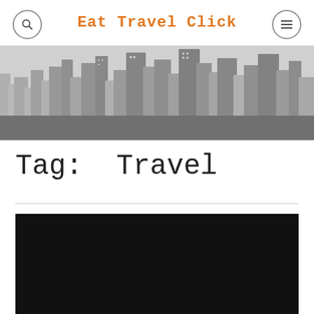Eat Travel Click
[Figure (photo): Black and white aerial photograph of a city skyline with tall skyscrapers]
Tag: Travel
[Figure (photo): Dark/black image, partially visible at the bottom of the page]